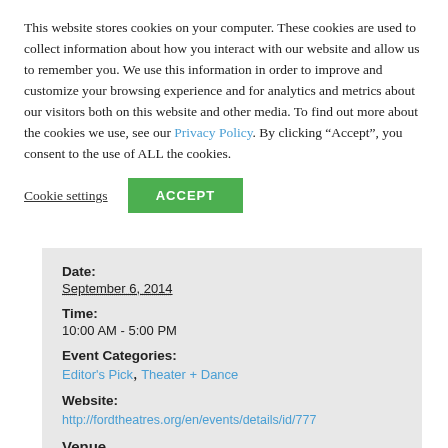This website stores cookies on your computer. These cookies are used to collect information about how you interact with our website and allow us to remember you. We use this information in order to improve and customize your browsing experience and for analytics and metrics about our visitors both on this website and other media. To find out more about the cookies we use, see our Privacy Policy. By clicking “Accept”, you consent to the use of ALL the cookies.
Cookie settings | ACCEPT
Date: September 6, 2014
Time: 10:00 AM - 5:00 PM
Event Categories: Editor’s Pick, Theater + Dance
Website: http://fordtheatres.org/en/events/details/id/777
Venue